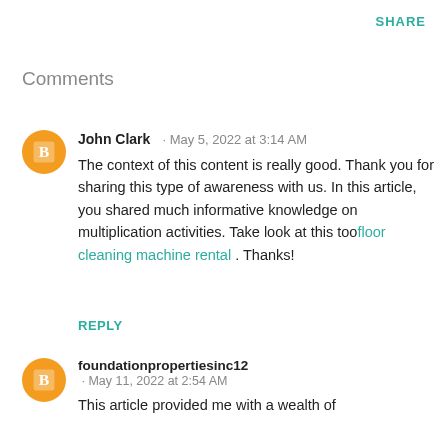SHARE
Comments
John Clark · May 5, 2022 at 3:14 AM
The context of this content is really good. Thank you for sharing this type of awareness with us. In this article, you shared much informative knowledge on multiplication activities. Take look at this toofloor cleaning machine rental . Thanks!
REPLY
foundationpropertiesinc12
· May 11, 2022 at 2:54 AM
This article provided me with a wealth of